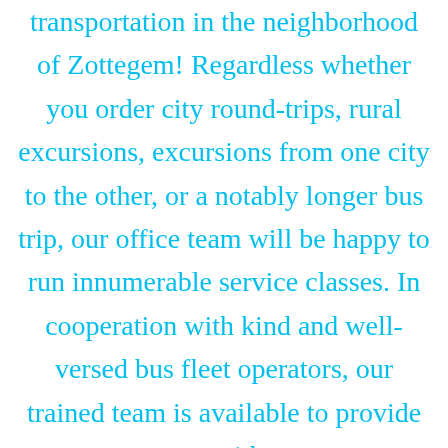transportation in the neighborhood of Zottegem! Regardless whether you order city round-trips, rural excursions, excursions from one city to the other, or a notably longer bus trip, our office team will be happy to run innumerable service classes. In cooperation with kind and well-versed bus fleet operators, our trained team is available to provide you with a